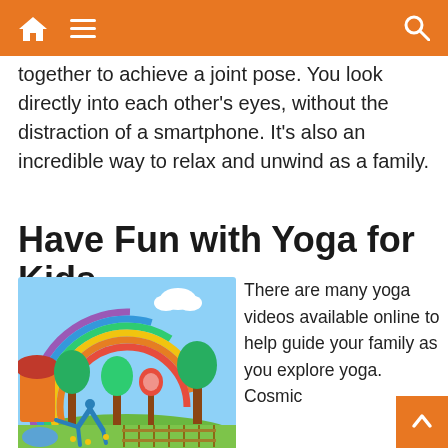Navigation bar with home, menu, and search icons
together to achieve a joint pose. You look directly into each other's eyes, without the distraction of a smartphone. It's also an incredible way to relax and unwind as a family.
Have Fun with Yoga for Kids
[Figure (illustration): Animated illustration of a child in a blue yoga outfit doing a side stretch pose under a rainbow in a colorful cartoon landscape with trees, a mushroom house, candy trees, and a wooden fence]
There are many yoga videos available online to help guide your family as you explore yoga. Cosmic Kids Yoga is a particularly fun Youtube find that is a favorite in elementary schools and homes alike. Yoga sessions are inspired